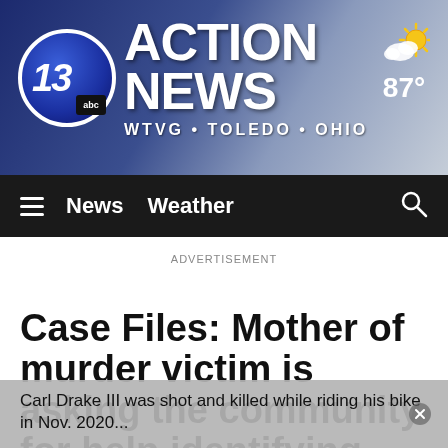[Figure (logo): 13 ABC Action News logo with WTVG Toledo Ohio branding and weather showing 87 degrees]
News  Weather
ADVERTISEMENT
Case Files: Mother of murder victim is asking the community for help identifying the killer
Carl Drake III was shot and killed while riding his bike in Nov. 2020...